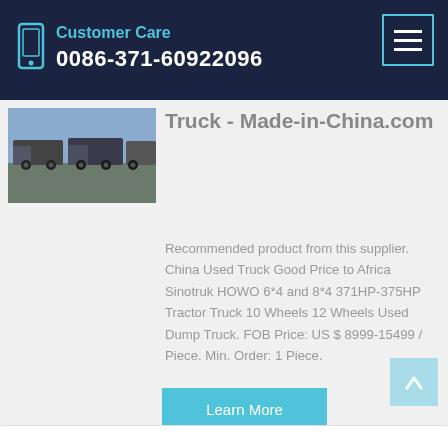Customer Care 0086-371-60922096
[Figure (photo): Thumbnail photo of trucks/vehicles in a lot]
Truck - Made-in-China.com
Recommended product from this supplier. China Used Truck Good Price to Africa Sinotruk HOWO 6*4 and 8*4 371HP-375HP Tractor Truck 10 Wheels 12 Wheels Used Dump Truck. FOB Price: US $ 8999-15499 / Piece. Min. Order: 1 Piece.
Learn More